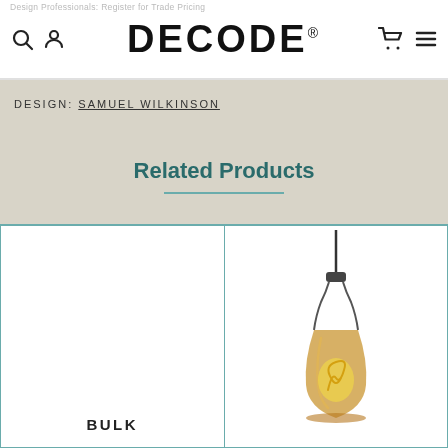DECODE®
DESIGN: SAMUEL WILKINSON
Related Products
[Figure (photo): Empty product cell on the left (BULK) — no image shown]
[Figure (photo): Pendant lamp with amber/honey-colored glass vessel shade and visible Edison-style filament bulb, hanging from a dark cord against white background]
BULK
VESSEL